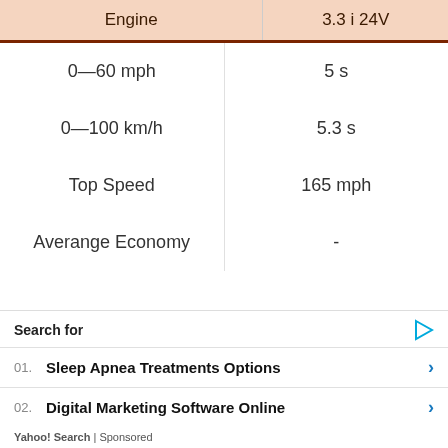| Engine | 3.3 i 24V |
| --- | --- |
| 0—60 mph | 5 s |
| 0—100 km/h | 5.3 s |
| Top Speed | 165 mph |
| Averange Economy | - |
Search for
01. Sleep Apnea Treatments Options
02. Digital Marketing Software Online
Yahoo! Search | Sponsored